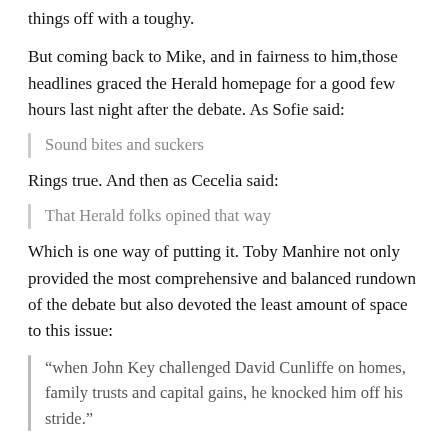things off with a toughy.
But coming back to Mike, and in fairness to him, those headlines graced the Herald homepage for a good few hours last night after the debate. As Sofie said:
Sound bites and suckers
Rings true. And then as Cecelia said:
That Herald folks opined that way
Which is one way of putting it. Toby Manhire not only provided the most comprehensive and balanced rundown of the debate but also devoted the least amount of space to this issue:
“when John Key challenged David Cunliffe on homes, family trusts and capital gains, he knocked him off his stride.”
Fran O’Sullivan, spun the Prime Minister’s misrepresentation as
“catching David Cunliffe out when it came to the detail on Labour’s capital gains tax.